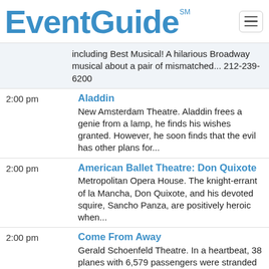EventGuide℠
including Best Musical! A hilarious Broadway musical about a pair of mismatched... 212-239-6200
2:00 pm — Aladdin — New Amsterdam Theatre. Aladdin frees a genie from a lamp, he finds his wishes granted. However, he soon finds that the evil has other plans for...
2:00 pm — American Ballet Theatre: Don Quixote — Metropolitan Opera House. The knight-errant of la Mancha, Don Quixote, and his devoted squire, Sancho Panza, are positively heroic when...
2:00 pm — Come From Away — Gerald Schoenfeld Theatre. In a heartbeat, 38 planes with 6,579 passengers were stranded in a remote town in Newfoundland. The locals opened...
2:00 pm — Ain't Too Proud: The Life and Times of The Temptations — Imperial Theatre. Broadway performance.
2:00 pm — Dear Evan Hansen — Music Box Theater. Broadway performance.
2:00 pm — The Play That Goes Wrong